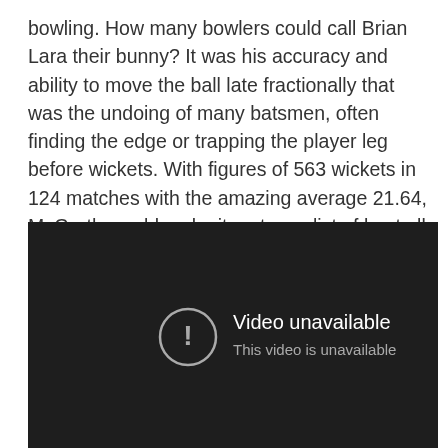bowling. How many bowlers could call Brian Lara their bunny? It was his accuracy and ability to move the ball late fractionally that was the undoing of many batsmen, often finding the edge or trapping the player leg before wickets. With figures of 563 wickets in 124 matches with the amazing average 21.64, McGrath would make it on to my list of best all time bowlers every time.
[Figure (screenshot): A dark/black video player showing a 'Video unavailable' error message with an exclamation mark icon and the text 'This video is unavailable' below.]